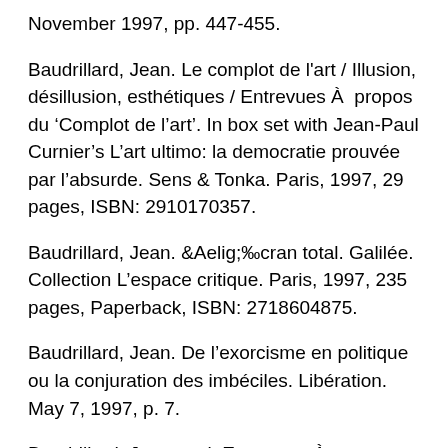November 1997, pp. 447-455.
Baudrillard, Jean. Le complot de l'art / Illusion, désillusion, esthétiques / Entrevues À propos du 'Complot de l'art'. In box set with Jean-Paul Curnier's L'art ultimo: la democratie prouvée par l'absurde. Sens & Tonka. Paris, 1997, 29 pages, ISBN: 2910170357.
Baudrillard, Jean. Écran total. Galilée. Collection L'espace critique. Paris, 1997, 235 pages, Paperback, ISBN: 2718604875.
Baudrillard, Jean. De l'exorcisme en politique ou la conjuration des imbéciles. Libération. May 7, 1997, p. 7.
Baudrillard, Jean et al. Entrevues À propos du 'Complot de l'art'. Dits & Contredits. Sens &